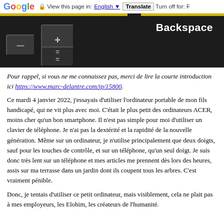Google  View this page in: English  Translate  Turn off for: F
[Figure (photo): Close-up photo of dark keyboard keys including minus, plus, equals keys and Backspace key label, with yellow bar at top]
Pour rappel, si vous ne me connaissez pas, merci de lire la courte introduction ici https://www.marc-delantre.com/jp/15800.
Ce mardi 4 janvier 2022, j'essayais d'utiliser l'ordinateur portable de mon fils handicapé, qui ne vit plus avec moi. C'était le plus petit des ordinateurs ACER, moins cher qu'un bon smartphone. Il n'est pas simple pour moi d'utiliser un clavier de téléphone. Je n'ai pas la dextérité et la rapidité de la nouvelle génération. Même sur un ordinateur, je n'utilise principalement que deux doigts, sauf pour les touches de contrôle, et sur un téléphone, qu'un seul doigt. Je suis donc très lent sur un téléphone et mes articles me prennent dès lors des heures, assis sur ma terrasse dans un jardin dont ils coupent tous les arbres. C'est vraiment pénible.
Donc, je tentais d'utiliser ce petit ordinateur, mais visiblement, cela ne plait pas à mes employeurs, les Elohim, les créateurs de l'humanité.